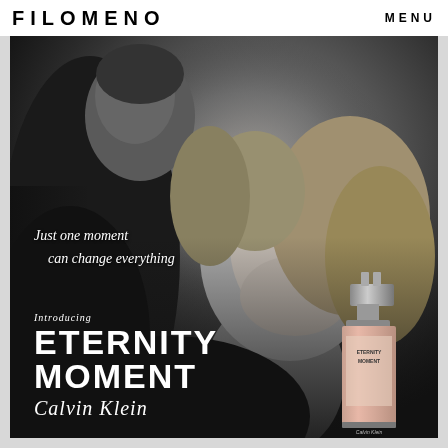FILOMENO    MENU
[Figure (photo): Black and white Calvin Klein Eternity Moment fragrance advertisement. A smiling blonde woman leans against a dark-suited man who faces away. Lower right contains a pink perfume bottle. Text overlay reads: 'Just one moment can change everything. Introducing ETERNITY MOMENT Calvin Klein']